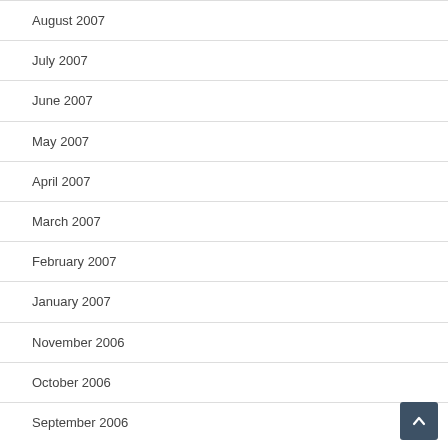August 2007
July 2007
June 2007
May 2007
April 2007
March 2007
February 2007
January 2007
November 2006
October 2006
September 2006